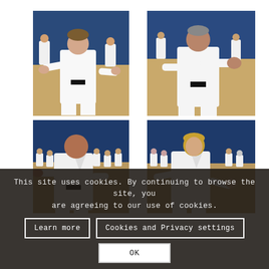[Figure (photo): Karate practitioner in white gi and black belt performing a technique in a sports hall with other karateka in the background]
[Figure (photo): Male karate practitioner in white gi and black belt performing a forward punch stance in a sports hall]
[Figure (photo): Bald male karate instructor in white gi and black belt performing a technique with many students in white gi seated in background]
[Figure (photo): Female karate practitioner in white gi performing a technique with students in white gi seated in background]
This site uses cookies. By continuing to browse the site, you are agreeing to our use of cookies.
Learn more
Cookies and Privacy settings
OK